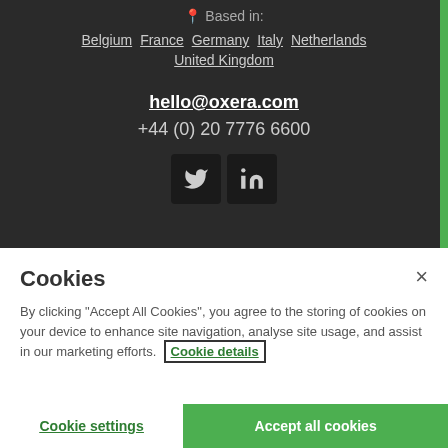Based in:
Belgium  France  Germany  Italy  Netherlands
United Kingdom
hello@oxera.com
+44 (0) 20 7776 6600
[Figure (other): Twitter and LinkedIn social media icon buttons]
Cookies
By clicking “Accept All Cookies”, you agree to the storing of cookies on your device to enhance site navigation, analyse site usage, and assist in our marketing efforts. Cookie details
Cookie settings
Accept all cookies